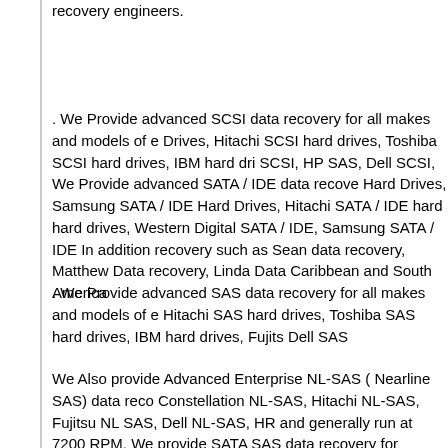recovery engineers.
. We Provide advanced SCSI data recovery for all makes and models of e Drives, Hitachi SCSI hard drives, Toshiba SCSI hard drives, IBM hard dri SCSI, HP SAS, Dell SCSI, We Provide advanced SATA / IDE data recove Hard Drives, Samsung SATA / IDE Hard Drives, Hitachi SATA / IDE hard hard drives, Western Digital SATA / IDE, Samsung SATA / IDE In addition recovery such as Sean data recovery, Matthew Data recovery, Linda Data Caribbean and South America
. We Provide advanced SAS data recovery for all makes and models of e Hitachi SAS hard drives, Toshiba SAS hard drives, IBM hard drives, Fujits Dell SAS
We Also provide Advanced Enterprise NL-SAS ( Nearline SAS) data reco Constellation NL-SAS, Hitachi NL-SAS, Fujitsu NL SAS, Dell NL-SAS, HR and generally run at 7200 RPM. We provide SATA SAS data recovery for External Storage device or internal SAS Connection. SATA SAS Data Re: Raid 6, SATA SAS Hybrid Raids, SATA SAS Raid 10 , SATA SAS Raid 01 other that raid 1 are striped across the drives in the array, Once each driv De-striping data recovery is the preformed on the array and the data is th drive. Whether a raid 5 data recovery, raid 6 recovery, raid 50 recovery o